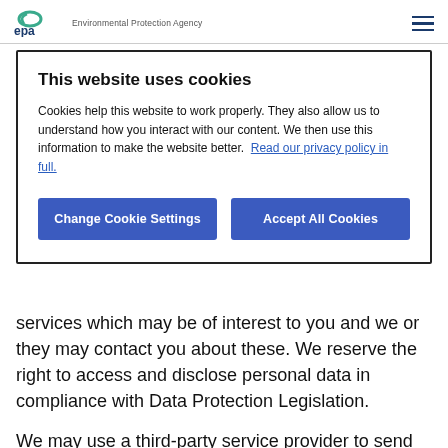EPA Environmental Protection Agency
This website uses cookies
Cookies help this website to work properly. They also allow us to understand how you interact with our content. We then use this information to make the website better. Read our privacy policy in full.
Change Cookie Settings | Accept All Cookies
services which may be of interest to you and we or they may contact you about these. We reserve the right to access and disclose personal data in compliance with Data Protection Legislation.
We may use a third-party service provider to send out our newsletter and administer our mailing list.
We may also use service providers to help us run the